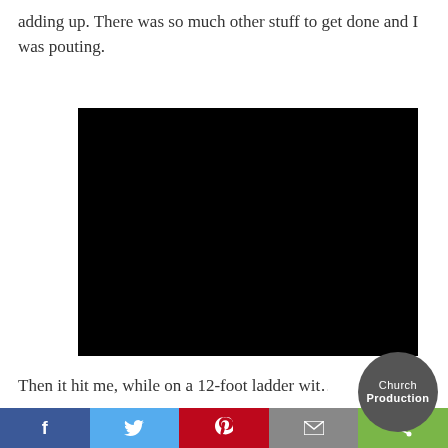adding up. There was so much other stuff to get done and I was pouting.
[Figure (photo): Solid black rectangle, appears to be a dark/black video thumbnail or image placeholder]
Then it hit me, while on a 12-foot ladder wit…
[Figure (logo): Church Production circular logo badge, dark grey with white text]
Facebook | Twitter | Pinterest | Email | Share social sharing buttons bar